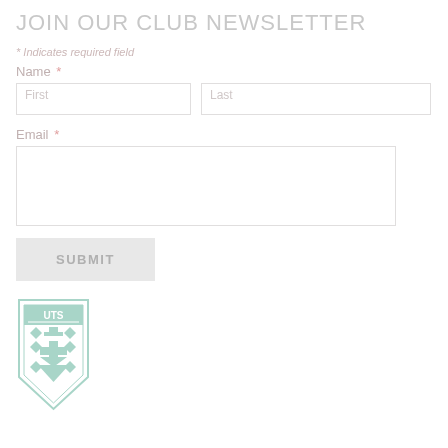JOIN OUR CLUB NEWSLETTER
* Indicates required field
Name *
First | Last (name input fields)
Email *
(email input field)
SUBMIT
[Figure (logo): UTS (University of Technology Sydney) shield/crest logo in teal/mint green color with cross and diamond pattern]